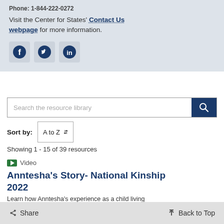Phone: 1-844-222-0272
Visit the Center for States' Contact Us webpage for more information.
[Figure (illustration): Three social media icon buttons: Facebook, Twitter, LinkedIn]
[Figure (screenshot): Search bar with text 'Search the resource library' and a dark blue search button with magnifying glass icon]
Sort by: A to Z
Showing 1 - 15 of 39 resources
Video
Anntesha's Story- National Kinship 2022
Learn how Anntesha's experience as a child living
< Share   ↑ Back to Top